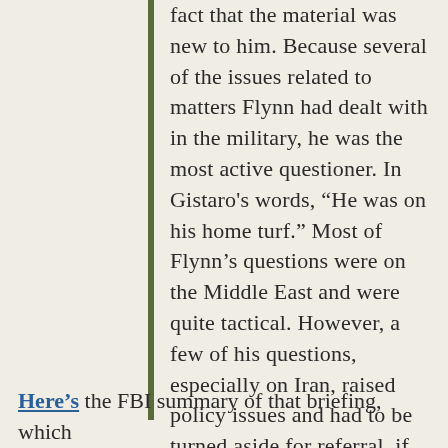fact that the material was new to him. Because several of the issues related to matters Flynn had dealt with in the military, he was the most active questioner. In Gistaro's words, "He was on his home turf." Most of Flynn's questions were on the Middle East and were quite tactical. However, a few of his questions, especially on Iran, raised policy issues and had to be turned aside for referral, if he wished, to the national security advisor. Trump's verdict on the session was a "thumbs-up" to IC officers as he departed. Christie later described the briefing as outstanding.
Here's the FBI summary of that briefing, which